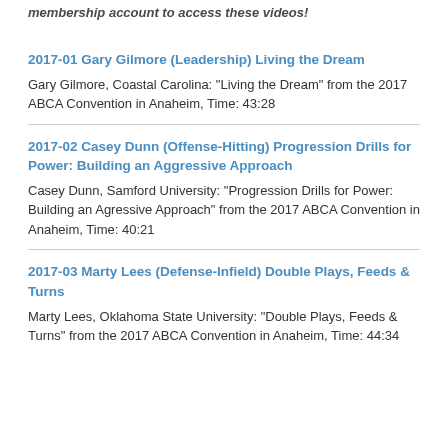membership account to access these videos!
2017-01 Gary Gilmore (Leadership) Living the Dream
Gary Gilmore, Coastal Carolina: "Living the Dream" from the 2017 ABCA Convention in Anaheim, Time: 43:28
2017-02 Casey Dunn (Offense-Hitting) Progression Drills for Power: Building an Aggressive Approach
Casey Dunn, Samford University: "Progression Drills for Power: Building an Agressive Approach" from the 2017 ABCA Convention in Anaheim, Time: 40:21
2017-03 Marty Lees (Defense-Infield) Double Plays, Feeds & Turns
Marty Lees, Oklahoma State University: "Double Plays, Feeds & Turns" from the 2017 ABCA Convention in Anaheim, Time: 44:34